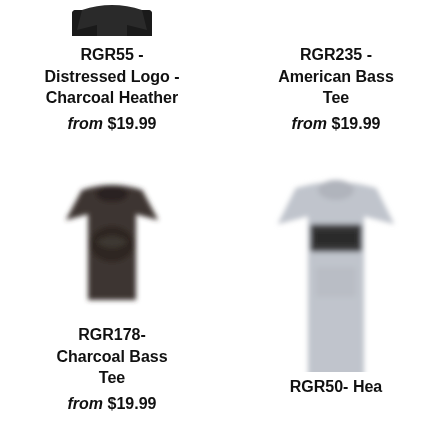[Figure (photo): Partial dark t-shirt image cropped at top of page, left column]
RGR55 - Distressed Logo - Charcoal Heather
from $19.99
RGR235 - American Bass Tee
from $19.99
[Figure (photo): Dark charcoal bass graphic t-shirt]
RGR178- Charcoal Bass Tee
from $19.99
[Figure (photo): Light gray bass graphic t-shirt, partially cropped at bottom]
RGR50- Hea...